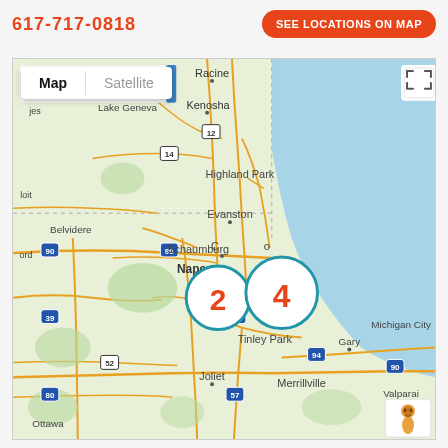617-717-0818  SEE LOCATIONS ON MAP
[Figure (map): Google Maps view showing the Chicago metropolitan area including suburbs such as Naperville, Schaumburg, Evanston, Highland Park, Kenosha, Racine, Joliet, Tinley Park, Gary, and surrounding regions. Two cluster markers are displayed: one labeled '2' near Naperville/western Chicago suburbs, and one labeled '4' near downtown Chicago/lakefront area. The map shows Lake Michigan to the east. Map/Satellite toggle controls visible at top left, fullscreen button at top right, and street view pegman icon at bottom right.]